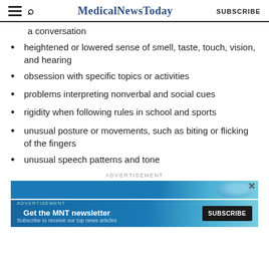MedicalNewsToday  SUBSCRIBE
a conversation
heightened or lowered sense of smell, taste, touch, vision, and hearing
obsession with specific topics or activities
problems interpreting nonverbal and social cues
rigidity when following rules in school and sports
unusual posture or movements, such as biting or flicking of the fingers
unusual speech patterns and tone
[Figure (screenshot): Advertisement banner: Get the MNT newsletter. Subscribe to receive our top news articles. SUBSCRIBE button.]